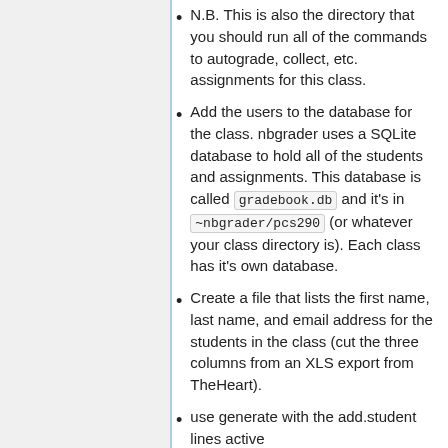N.B. This is also the directory that you should run all of the commands to autograde, collect, etc. assignments for this class.
Add the users to the database for the class. nbgrader uses a SQLite database to hold all of the students and assignments. This database is called gradebook.db and it's in ~nbgrader/pcs290 (or whatever your class directory is). Each class has it's own database.
Create a file that lists the first name, last name, and email address for the students in the class (cut the three columns from an XLS export from TheHeart).
use generate with the add.student lines active
There's a script in